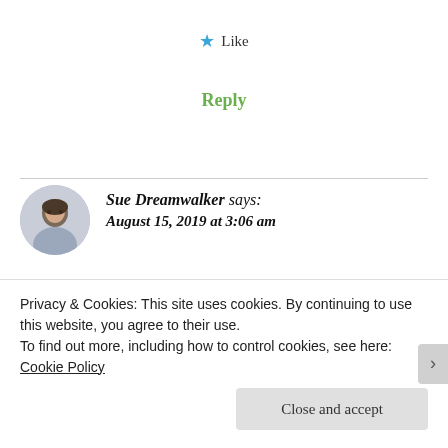★ Like
Reply
Sue Dreamwalker says: August 15, 2019 at 3:06 am
Bless your heart for your kind nomination, I explained in a reply to your comment on my blog how wonderful...
Privacy & Cookies: This site uses cookies. By continuing to use this website, you agree to their use.
To find out more, including how to control cookies, see here: Cookie Policy
Close and accept